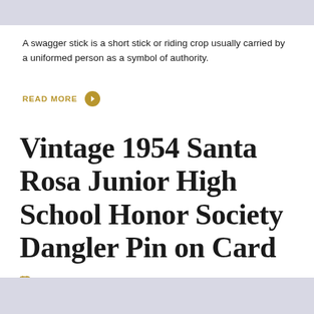A swagger stick is a short stick or riding crop usually carried by a uniformed person as a symbol of authority.
READ MORE
Vintage 1954 Santa Rosa Junior High School Honor Society Dangler Pin on Card
FEBRUARY 20, 2019